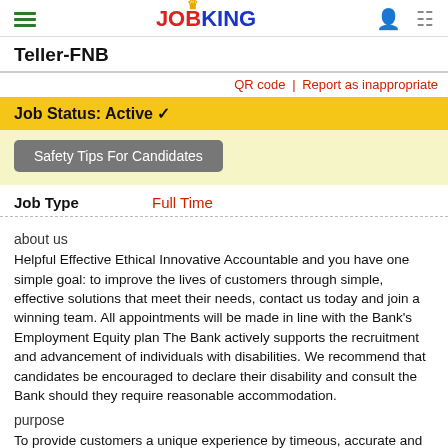JOBKING
Teller-FNB
QR code | Report as inappropriate
Job Status: Active ✓
Safety Tips For Candidates
Job Type    Full Time
about us
Helpful Effective Ethical Innovative Accountable and you have one simple goal: to improve the lives of customers through simple, effective solutions that meet their needs, contact us today and join a winning team. All appointments will be made in line with the Bank's Employment Equity plan The Bank actively supports the recruitment and advancement of individuals with disabilities. We recommend that candidates be encouraged to declare their disability and consult the Bank should they require reasonable accommodation.
purpose
To provide customers a unique experience by timeous, accurate and efficient processing of their financial transactions through excellent customer service.